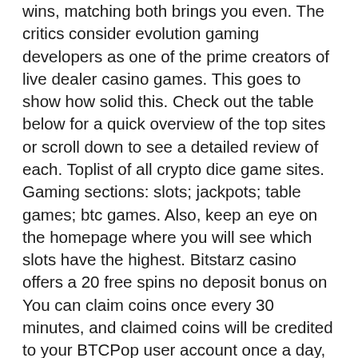wins, matching both brings you even. The critics consider evolution gaming developers as one of the prime creators of live dealer casino games. This goes to show how solid this. Check out the table below for a quick overview of the top sites or scroll down to see a detailed review of each. Toplist of all crypto dice game sites. Gaming sections: slots; jackpots; table games; btc games. Also, keep an eye on the homepage where you will see which slots have the highest. Bitstarz casino offers a 20 free spins no deposit bonus on You can claim coins once every 30 minutes, and claimed coins will be credited to your BTCPop user account once a day, bitstarz how to change to show dollar amount.
If you visit BTC Clicks, you can earn up to 0. The premium membership costs 0. As its name suggests, this is the most ' family friendly ' and approachable Bitcoin faucets you will ever find in the market, bitstarz hoh